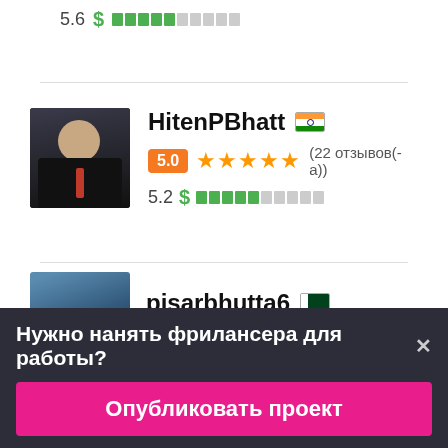5.6 $ ████░░░░░░
[Figure (screenshot): Profile card for HitenPBhatt with India flag, 5.0 rating badge, 5 stars, 22 reviews, 5.2 price level]
HitenPBhatt 🇮🇳
5.0 ★★★★★ (22 отзывов(-а))
5.2 $ ████░░░░░░
pisarbhutta6 🇵🇰
Нужно нанять фрилансера для работы?×
Опубликовать проект